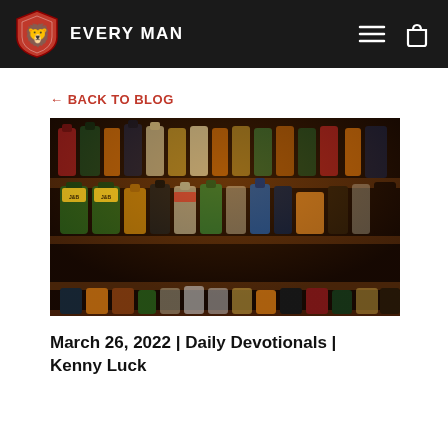EVERY MAN
← BACK TO BLOG
[Figure (photo): Bar shelf stocked with numerous liquor bottles including J&B whisky, whiskey bottles of various brands, green and clear bottles, arranged on multiple tiers with dark background lighting]
March 26, 2022 | Daily Devotionals | Kenny Luck